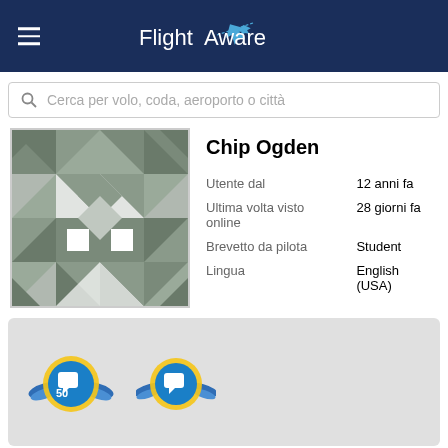FlightAware
Cerca per volo, coda, aeroporto o città
[Figure (illustration): User avatar placeholder image with grey geometric/quilt pattern]
Chip Ogden
| Utente dal | 12 anni fa |
| Ultima volta visto online | 28 giorni fa |
| Brevetto da pilota | Student |
| Lingua | English (USA) |
[Figure (illustration): Two badge icons: first badge shows number 5 and 50 with speech bubble icon and yellow wings on blue circle; second badge shows speech bubble icon with yellow wings on blue circle]